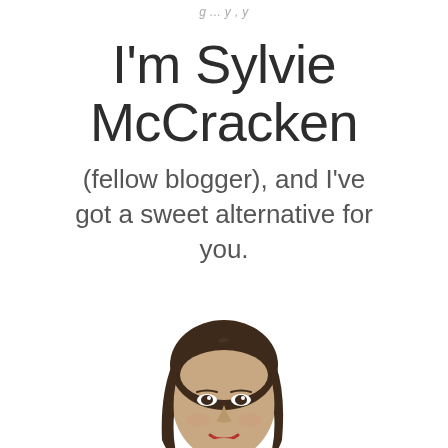g ... y , y
I'm Sylvie McCracken
(fellow blogger), and I've got a sweet alternative for you.
[Figure (photo): Headshot of a woman with straight dark brown hair, smiling, looking slightly to the side, cropped from shoulders up on a white background.]